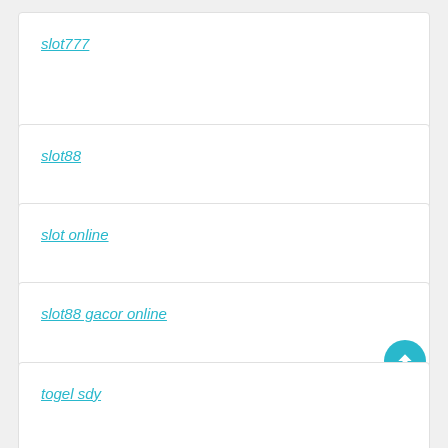slot777
slot88
slot online
slot88 gacor online
togel sdy